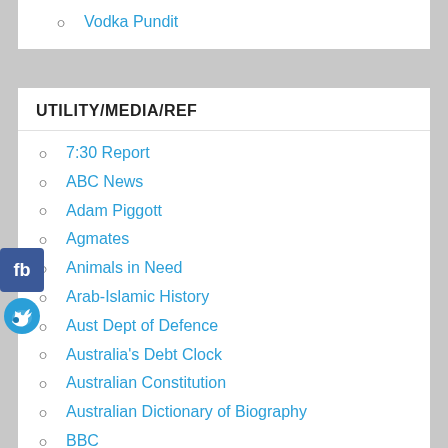Vodka Pundit
UTILITY/MEDIA/REF
7:30 Report
ABC News
Adam Piggott
Agmates
Animals in Need
Arab-Islamic History
Aust Dept of Defence
Australia's Debt Clock
Australian Constitution
Australian Dictionary of Biography
BBC
Brisbane Weather Radar
CIA World Fact Book